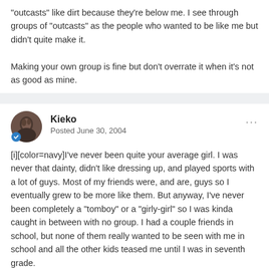"outcasts" like dirt because they're below me. I see through groups of "outcasts" as the people who wanted to be like me but didn't quite make it.

Making your own group is fine but don't overrate it when it's not as good as mine.
Kieko
Posted June 30, 2004
[i][color=navy]I've never been quite your average girl. I was never that dainty, didn't like dressing up, and played sports with a lot of guys. Most of my friends were, and are, guys so I eventually grew to be more like them. But anyway, I've never been completely a "tomboy" or a "girly-girl" so I was kinda caught in between with no group. I had a couple friends in school, but none of them really wanted to be seen with me in school and all the other kids teased me until I was in seventh grade.

Then I discovered confidence.